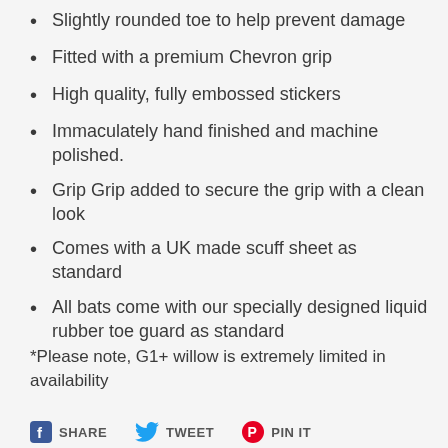Slightly rounded toe to help prevent damage
Fitted with a premium Chevron grip
High quality, fully embossed stickers
Immaculately hand finished and machine polished.
Grip Grip added to secure the grip with a clean look
Comes with a UK made scuff sheet as standard
All bats come with our specially designed liquid rubber toe guard as standard
*Please note, G1+ willow is extremely limited in availability
SHARE   TWEET   PIN IT